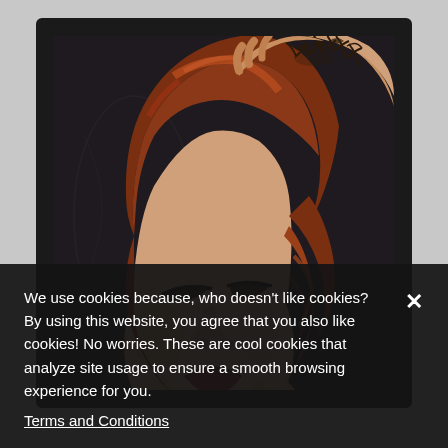[Figure (photo): Close-up portrait of a woman with red/auburn wavy hair, eyes closed, wearing dramatic eye makeup. Her arm with tattoos is raised holding her hair up. Dark background.]
We use cookies because, who doesn't like cookies? By using this website, you agree that you also like cookies! No worries. These are cool cookies that analyze site usage to ensure a smooth browsing experience for you.
Terms and Conditions